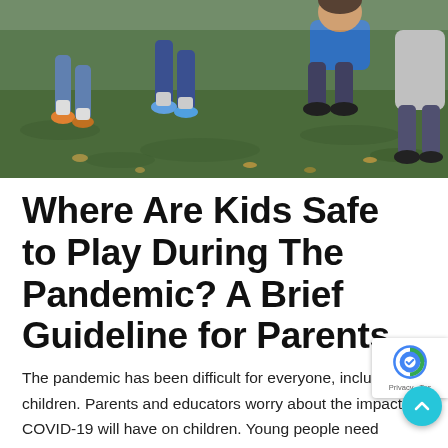[Figure (photo): Children running and playing outdoors on grass, seen from the waist down, wearing colorful sneakers. Fallen leaves visible on the ground.]
Where Are Kids Safe to Play During The Pandemic? A Brief Guideline for Parents
The pandemic has been difficult for everyone, including children. Parents and educators worry about the impact COVID-19 will have on children. Young people need play and sports to develop their minds and bodies. These activities also help teach